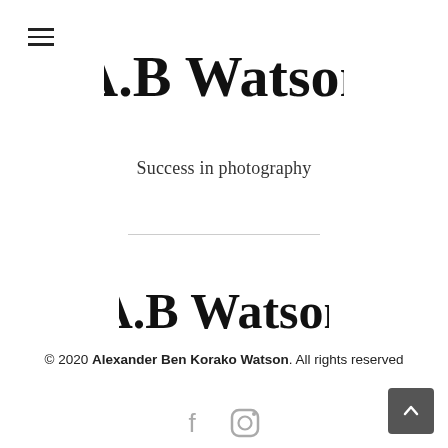[Figure (logo): A.B Watson handwritten script logo at top center of page]
Success in photography
[Figure (logo): A.B Watson handwritten script logo in footer area]
© 2020 Alexander Ben Korako Watson. All rights reserved
[Figure (other): Social media icons: Facebook (f) and Instagram (camera) icons in light gray]